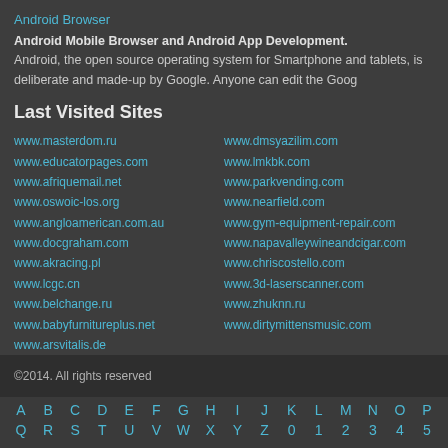Android Browser
Android Mobile Browser and Android App Development.
Android, the open source operating system for Smartphone and tablets, is deliberate and made-up by Google. Anyone can edit the Goog
Last Visited Sites
www.masterdom.ru
www.educatorpages.com
www.afriquemail.net
www.oswoic-los.org
www.angloamerican.com.au
www.docgraham.com
www.akracing.pl
www.lcgc.cn
www.belchange.ru
www.babyfurnitureplus.net
www.arsvitalis.de
www.dmsyazilim.com
www.lmkbk.com
www.parkvending.com
www.nearfield.com
www.gym-equipment-repair.com
www.napavalleywineandcigar.com
www.chriscostello.com
www.3d-laserscanner.com
www.zhuknn.ru
www.dirtymittensmusic.com
©2014. All rights reserved
A B C D E F G H I J K L M N O P Q R S T U V W X Y Z 0 1 2 3 4 5 6 7 8 9